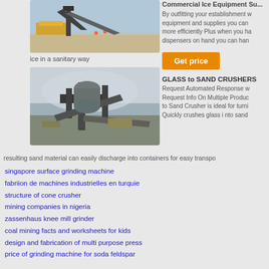[Figure (photo): Mining/quarrying equipment with conveyor belts in a dusty outdoor setting, workers visible]
ice in a sanitary way
[Figure (photo): Industrial crushing/grinding machinery with conveyor systems in an outdoor setting]
Commercial Ice Equipment Su... By outfitting your establishment with equipment and supplies you can more efficiently Plus when you ha dispensers on hand you can han
Get price
GLASS to SAND CRUSHERS
Request Automated Response w Request Info On Multiple Produ to Sand Crusher is ideal for turni Quickly crushes glass i nto sand
resulting sand material can easily discharge into containers for easy transpo
singapore surface grinding machine
fabriion de machines industrielles en turquie
structure of cone crusher
mining companies in nigeria
zassenhaus knee mill grinder
coal mining facts and worksheets for kids
design and fabrication of multi purpose press
price of grinding machine for soda feldspar